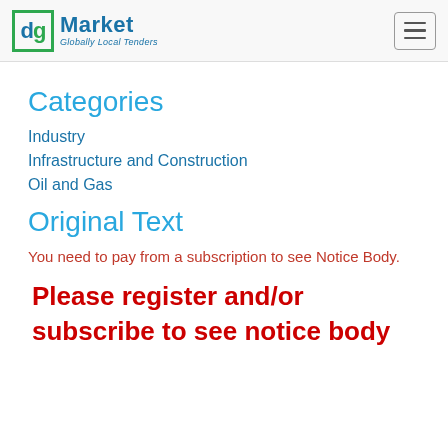[Figure (logo): dgMarket logo with green border box containing 'dg' letters and 'Market / Globally Local Tenders' text beside it, plus a hamburger menu button on the right]
Categories
Industry
Infrastructure and Construction
Oil and Gas
Original Text
You need to pay from a subscription to see Notice Body.
Please register and/or subscribe to see notice body